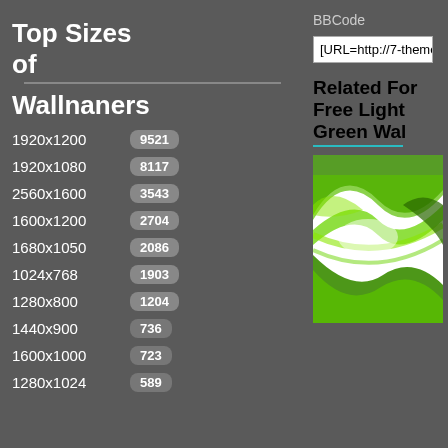Top Sizes of Wallpapers
1920x1200  9521
1920x1080  8117
2560x1600  3543
1600x1200  2704
1680x1050  2086
1024x768   1903
1280x800   1204
1440x900   736
1600x1000  723
1280x1024  589
BBCode
[URL=http://7-themes.com/6792995-free-light-
Related For Free Light Green Wal
[Figure (illustration): Green abstract wavy light green wallpaper image on white background]